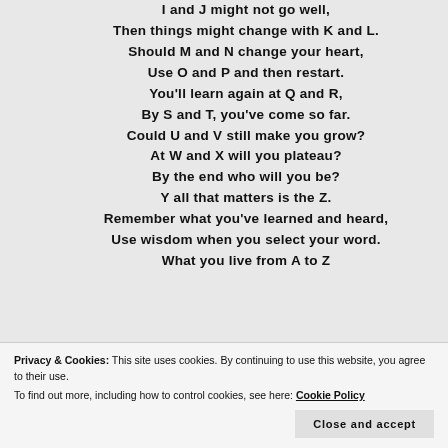I and J might not go well, Then things might change with K and L. Should M and N change your heart, Use O and P and then restart. You'll learn again at Q and R, By S and T, you've come so far. Could U and V still make you grow? At W and X will you plateau? By the end who will you be? Y all that matters is the Z. Remember what you've learned and heard, Use wisdom when you select your word. What you live from A to Z
Privacy & Cookies: This site uses cookies. By continuing to use this website, you agree to their use. To find out more, including how to control cookies, see here: Cookie Policy
Close and accept